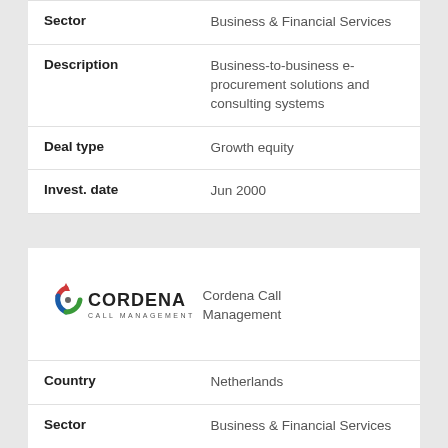| Field | Value |
| --- | --- |
| Sector | Business & Financial Services |
| Description | Business-to-business e-procurement solutions and consulting systems |
| Deal type | Growth equity |
| Invest. date | Jun 2000 |
[Figure (logo): Cordena Call Management logo with colorful circular arrow icon]
Cordena Call Management
| Field | Value |
| --- | --- |
| Country | Netherlands |
| Sector | Business & Financial Services |